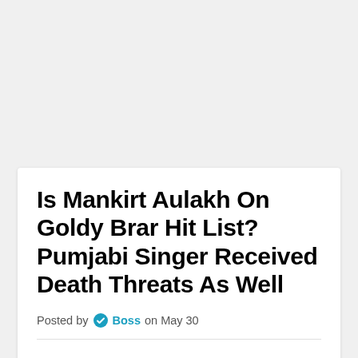Is Mankirt Aulakh On Goldy Brar Hit List? Pumjabi Singer Received Death Threats As Well
Posted by Boss on May 30